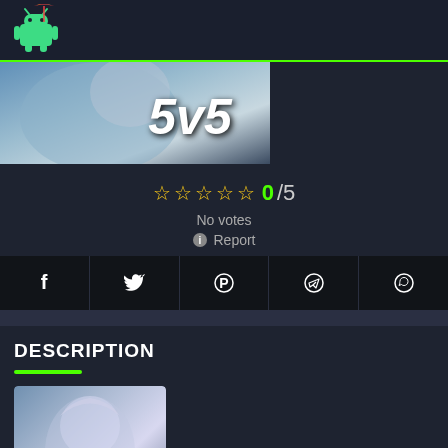[Figure (logo): Android with umbrella logo]
[Figure (screenshot): Game screenshot showing anime character with 5v5 text]
☆☆☆☆☆ 0/5
No votes
ℹ Report
[Figure (infographic): Social share buttons: Facebook, Twitter, Pinterest, Telegram, WhatsApp]
DESCRIPTION
[Figure (screenshot): Game thumbnail showing anime character with 5v5 text]